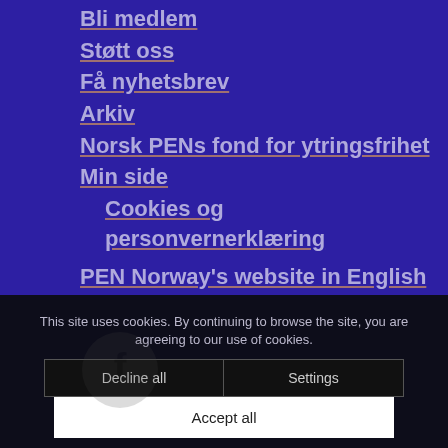Bli medlem
Støtt oss
Få nyhetsbrev
Arkiv
Norsk PENs fond for ytringsfrihet
Min side
Cookies og personvernerklæring
PEN Norway's website in English
This site uses cookies. By continuing to browse the site, you are agreeing to our use of cookies.
Decline all
Settings
Accept all